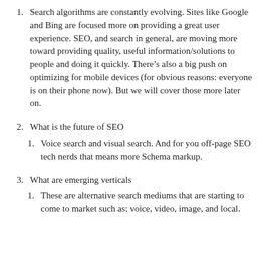Search algorithms are constantly evolving. Sites like Google and Bing are focused more on providing a great user experience. SEO, and search in general, are moving more toward providing quality, useful information/solutions to people and doing it quickly. There’s also a big push on optimizing for mobile devices (for obvious reasons: everyone is on their phone now). But we will cover those more later on.
What is the future of SEO
Voice search and visual search. And for you off-page SEO tech nerds that means more Schema markup.
What are emerging verticals
These are alternative search mediums that are starting to come to market such as: voice, video, image, and local.